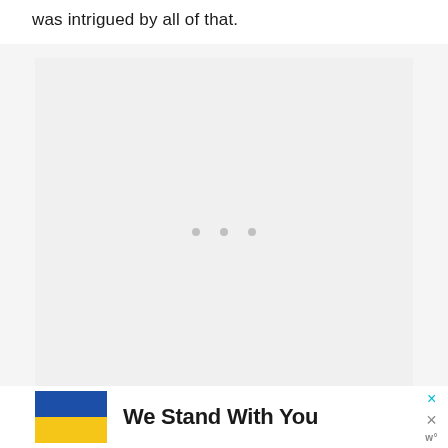was intrigued by all of that.
[Figure (other): Large image placeholder with light gray background and three small gray dots centered in the middle, indicating a loading or empty image state.]
We Stand With You